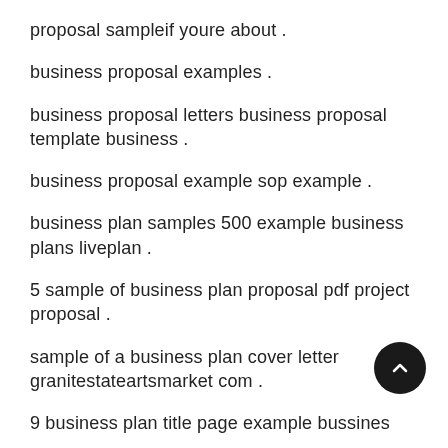proposal sampleif youre about .
business proposal examples .
business proposal letters business proposal template business .
business proposal example sop example .
business plan samples 500 example business plans liveplan .
5 sample of business plan proposal pdf project proposal .
sample of a business plan cover letter granitestateartsmarket com .
9 business plan title page example bussines